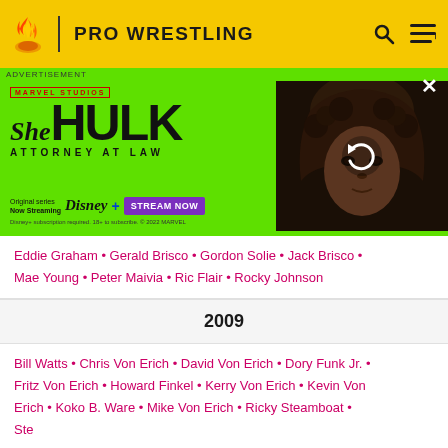PRO WRESTLING
[Figure (screenshot): She-Hulk Attorney at Law advertisement banner for Disney+ streaming]
Eddie Graham • Gerald Brisco • Gordon Solie • Jack Brisco • Mae Young • Peter Maivia • Ric Flair • Rocky Johnson
2009
Bill Watts • Chris Von Erich • David Von Erich • Dory Funk Jr. • Fritz Von Erich • Howard Finkel • Kerry Von Erich • Kevin Von Erich • Koko B. Ware • Mike Von Erich • Ricky Steamboat • Ste[...]
We want your honest take on online discussions
SURVEY: ONLINE FORUMS